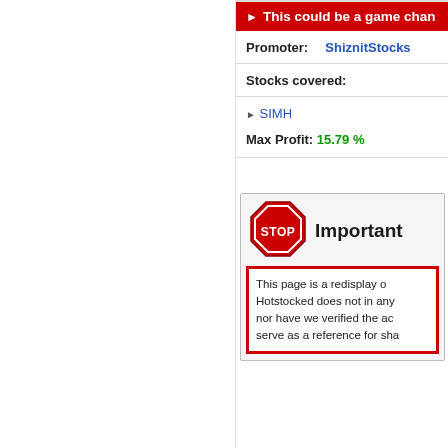This could be a game chan
Promoter: ShiznitStocks
Stocks covered:
SIMH
Max Profit: 15.79 %
[Figure (illustration): STOP sign icon next to 'Important' heading]
This page is a redisplay of Hotstocked does not in any nor have we verified the ac serve as a reference for sha